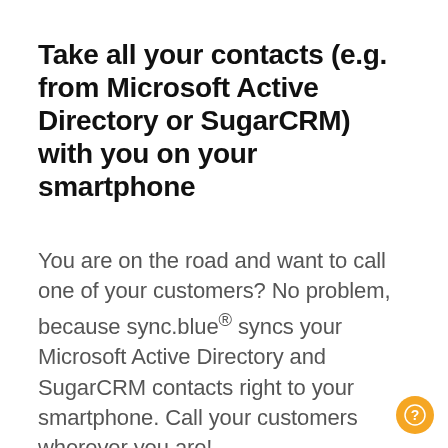Take all your contacts (e.g. from Microsoft Active Directory or SugarCRM) with you on your smartphone
You are on the road and want to call one of your customers? No problem, because sync.blue® syncs your Microsoft Active Directory and SugarCRM contacts right to your smartphone. Call your customers wherever you are!